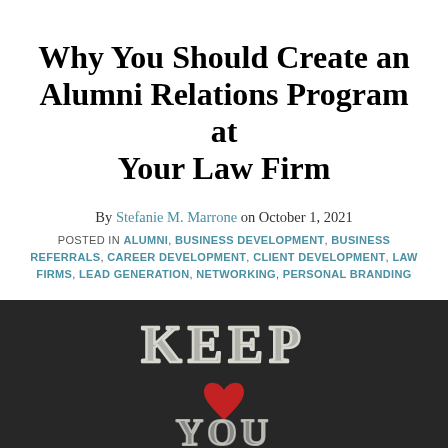Why You Should Create an Alumni Relations Program at Your Law Firm
By Stefanie M. Marrone on October 1, 2021
POSTED IN ALUMNI, BUSINESS DEVELOPMENT, BUSINESS REFERRALS, CAREER DEVELOPMENT, CLIENT DEVELOPMENT, LAW FIRMS, LEAD GENERATION, NETWORKING, PERSONAL BRANDING
There are endless benefits for you (the law firm) and your alumni to stay in touch with each other.
[Figure (photo): Chalkboard photo showing chalk lettering 'KEEP' at top and a red heart below, with partial text visible at the bottom, suggesting 'KEEP [LOVE] YOU']